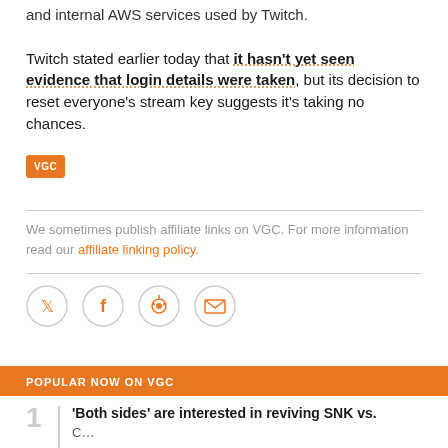and internal AWS services used by Twitch.

Twitch stated earlier today that it hasn't yet seen evidence that login details were taken, but its decision to reset everyone's stream key suggests it's taking no chances.
[Figure (logo): VGC orange logo badge]
We sometimes publish affiliate links on VGC. For more information read our affiliate linking policy.
[Figure (infographic): Social share icons: Twitter, Facebook, Reddit, Email]
POPULAR NOW ON VGC
'Both sides' are interested in reviving SNK vs.